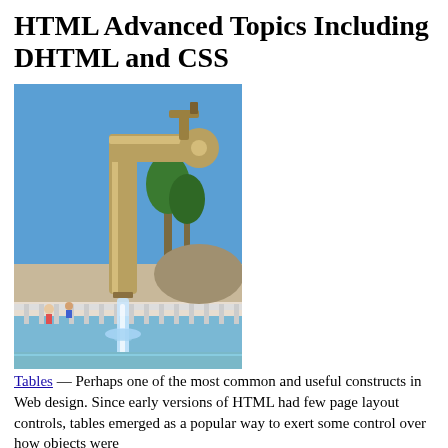HTML Advanced Topics Including DHTML and CSS
[Figure (photo): A large bronze faucet tap with water flowing dramatically into a decorative fountain pool, with palm trees and blue sky in the background.]
Tables — Perhaps one of the most common and useful constructs in Web design. Since early versions of HTML had few page layout controls, tables emerged as a popular way to exert some control over how objects were